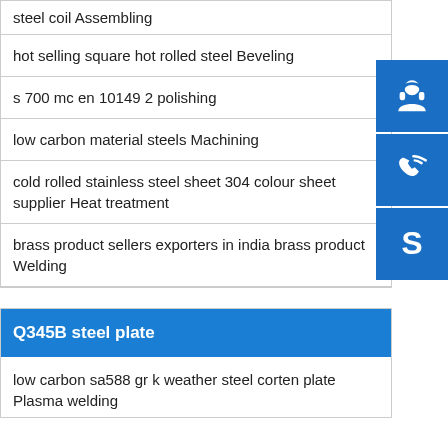steel coil Assembling
hot selling square hot rolled steel Beveling
s 700 mc en 10149 2 polishing
low carbon material steels Machining
cold rolled stainless steel sheet 304 colour sheet supplier Heat treatment
brass product sellers exporters in india brass product Welding
Q345B steel plate
low carbon sa588 gr k weather steel corten plate Plasma welding